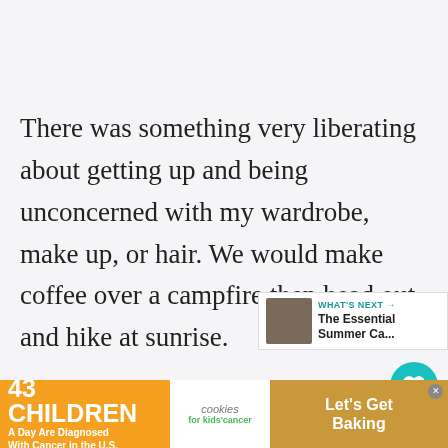There was something very liberating about getting up and being unconcerned with my wardrobe, make up, or hair. We would make coffee over a campfire then head out and hike at sunrise.
If you have never hiked at sunrise, I suggest you put this on your bucket list.
[Figure (screenshot): What's Next UI widget showing a thumbnail and text 'The Essential Summer Ca...']
[Figure (screenshot): Like button (teal circle with heart icon) showing count 2, and share button below]
[Figure (infographic): Ad banner: '43 CHILDREN A Day Are Diagnosed With Cancer in the U.S.' with cookies for kids cancer logo and 'Let's Get Baking' button]